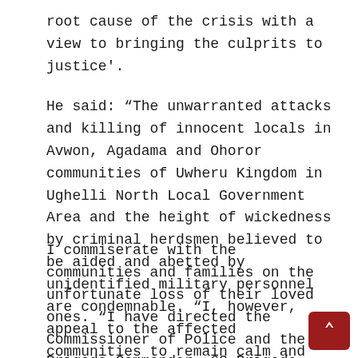root cause of the crisis with a view to bringing the culprits to justice'.
He said: “The unwarranted attacks and killing of innocent locals in Avwon, Agadama and Ohoror communities of Uwheru Kingdom in Ughelli North Local Government Area and the height of wickedness by criminal herdsmen believed to be aided and abetted by unidentified military personnel are condemnable. “I, however, appeal to the affected communities to remain calm and peaceful.
I commiserate with the communities and families on the unfortunate loss of their loved ones. “I have directed the Commissioner of Police and the Brigade Commander, 63 Brigade, Nigerian Army, to rise to the occasion and bring the culprits to justice. “As a st…